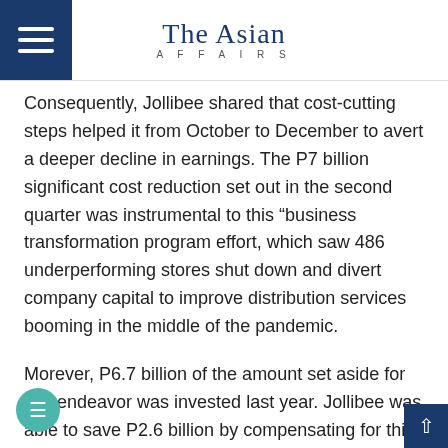The Asian Affairs
Consequently, Jollibee shared that cost-cutting steps helped it from October to December to avert a deeper decline in earnings. The P7 billion significant cost reduction set out in the second quarter was instrumental to this “business transformation program effort, which saw 486 underperforming stores shut down and divert company capital to improve distribution services booming in the middle of the pandemic.
Morever, P6.7 billion of the amount set aside for this endeavor was invested last year. Jollibee was able to save P2.6 billion by compensating for this investment and shutting down under performing establishments. On top of that, P8 billion in capital expenses originally scheduled for 2020 were “avoided or delayed to future year to conserve cash.